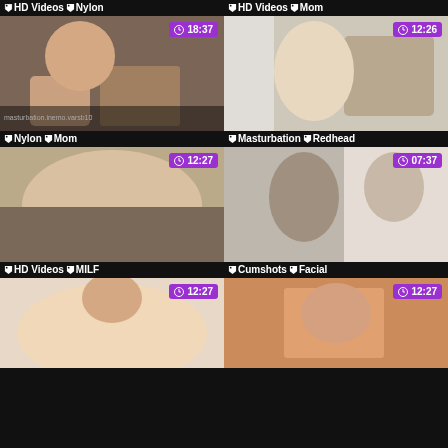HD Videos  Nylon  |  HD Videos  Mom
[Figure (photo): Video thumbnail with duration 18:37, tags: Nylon, Mom]
[Figure (photo): Video thumbnail with duration 12:26, tags: Masturbation, Redhead]
Nylon  Mom  |  Masturbation  Redhead
[Figure (photo): Video thumbnail with duration 12:27, tags: HD Videos, MILF]
[Figure (photo): Video thumbnail with duration 07:37, tags: Cumshots, Facial]
HD Videos  MILF  |  Cumshots  Facial
[Figure (photo): Video thumbnail with duration 12:27]
[Figure (photo): Video thumbnail with duration 12:27]